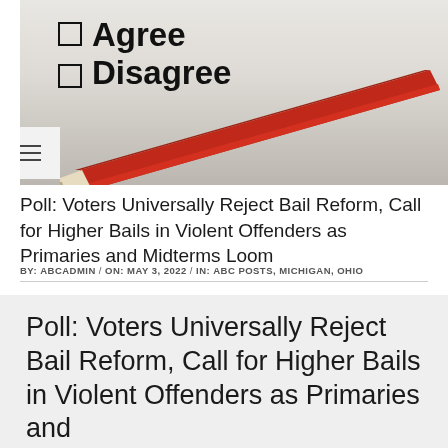[Figure (photo): A paper with checkboxes next to the words 'Agree' and 'Disagree' with a red pencil resting on it. A hamburger menu icon appears in the upper left.]
Poll: Voters Universally Reject Bail Reform, Call for Higher Bails in Violent Offenders as Primaries and Midterms Loom
BY: ABCADMIN / ON: MAY 3, 2022 / IN: ABC POSTS, MICHIGAN, OHIO
Poll: Voters Universally Reject Bail Reform, Call for Higher Bails in Violent Offenders as Primaries and